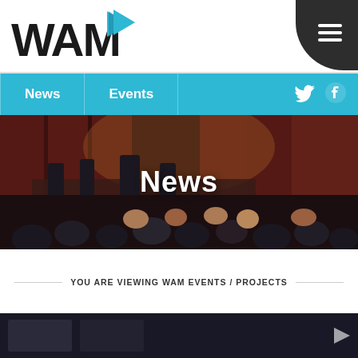[Figure (logo): WAM logo with play button triangle icon in teal/blue]
[Figure (infographic): Dark hamburger menu button with three white horizontal lines on dark rounded background]
News
Events
[Figure (infographic): Twitter bird icon in white]
[Figure (infographic): Facebook f icon in white]
[Figure (photo): Concert photo showing band on stage with audience in foreground, warm lighting with curtains behind stage]
News
YOU ARE VIEWING WAM EVENTS / PROJECTS
[Figure (screenshot): Bottom preview strip of a dark video/image content area]